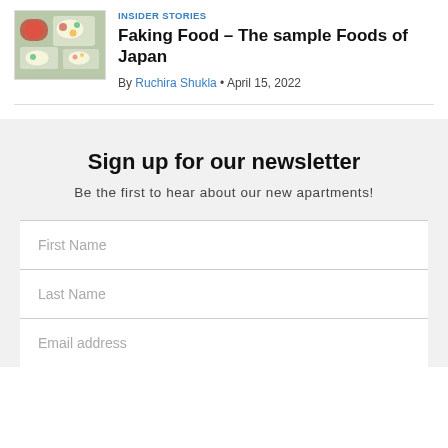INSIDER STORIES
Faking Food – The sample Foods of Japan
By Ruchira Shukla • April 15, 2022
Sign up for our newsletter
Be the first to hear about our new apartments!
First Name
Last Name
Email address